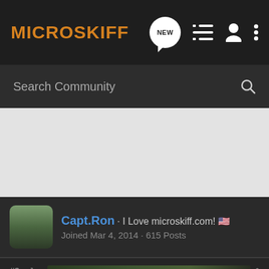MICROSKIFF
Search Community
Capt.Ron · I Love microskiff.com! 🇺🇸
Joined Mar 4, 2014 · 615 Posts
#9 · Jun
[Figure (screenshot): Advertisement for The New 2022 Silverado by Chevrolet with Explore button]
still ava